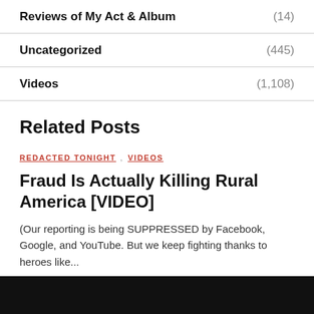Reviews of My Act & Album (14)
Uncategorized (445)
Videos (1,108)
Related Posts
REDACTED TONIGHT  VIDEOS
Fraud Is Actually Killing Rural America [VIDEO]
(Our reporting is being SUPPRESSED by Facebook, Google, and YouTube. But we keep fighting thanks to heroes like...
BY LEE CAMP
[Figure (photo): Black rectangle representing a video thumbnail image at the bottom of the page]